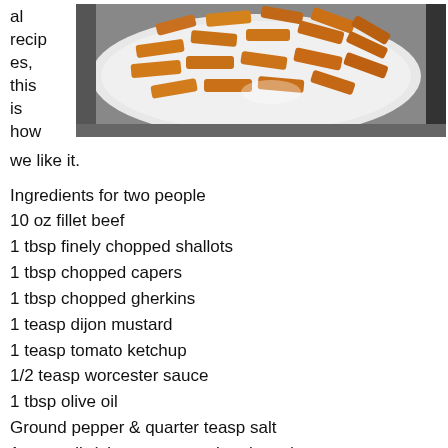al recipes, this is how we like it.
[Figure (photo): A white plate on a granite surface holding thick-cut fried potato chips/fries, golden brown in color.]
Ingredients for two people
10 oz fillet beef
1 tbsp finely chopped shallots
1 tbsp chopped capers
1 tbsp chopped gherkins
1 teasp dijon mustard
1 teasp tomato ketchup
1/2 teasp worcester sauce
1 tbsp olive oil
Ground pepper & quarter teasp salt
1 egg yolk (please excuse the picture)